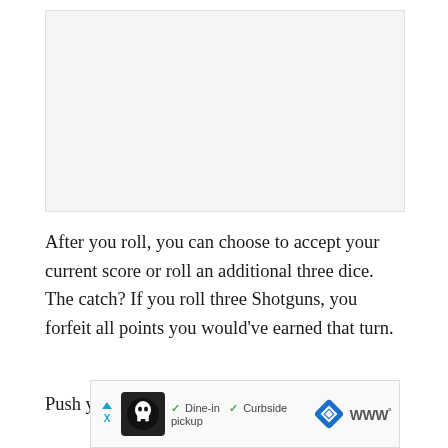[Figure (other): Gray rectangular placeholder area representing an image or screenshot at the top of the page]
After you roll, you can choose to accept your current score or roll an additional three dice. The catch? If you roll three Shotguns, you forfeit all points you would've earned that turn.
Push your luck, baby!
[Figure (screenshot): Advertisement bar showing a restaurant icon, checkmarks for Dine-in and Curbside pickup, a blue diamond navigation icon, and Waze-style logo]